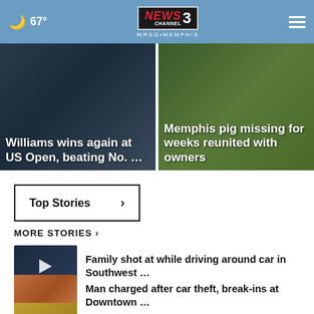67° NEWS CHANNEL 3 WREG MEMPHIS
[Figure (photo): Dark photo of person, headline: Williams wins again at US Open, beating No. ...]
[Figure (photo): Photo of pig in foliage, headline: Memphis pig missing for weeks reunited with owners]
Top Stories >
MORE STORIES >
[Figure (photo): Thumbnail of police car at night with play button]
Family shot at while driving around car in Southwest ...
[Figure (photo): Thumbnail of brick building]
Man charged after car theft, break-ins at Downtown ...